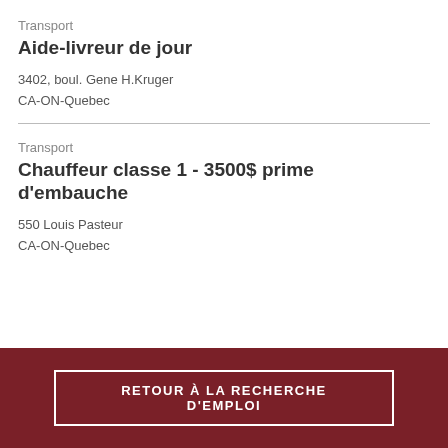Transport
Aide-livreur de jour
3402, boul. Gene H.Kruger
CA-ON-Quebec
Transport
Chauffeur classe 1 - 3500$ prime d'embauche
550 Louis Pasteur
CA-ON-Quebec
RETOUR À LA RECHERCHE D'EMPLOI